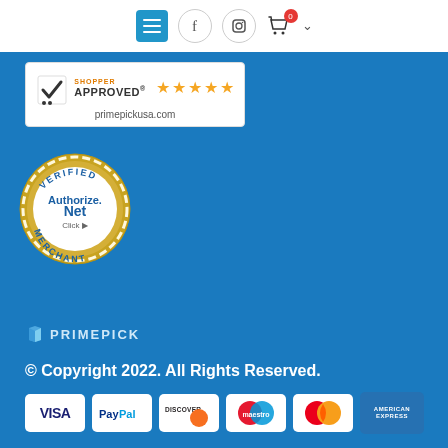[Figure (screenshot): Navigation header bar with hamburger menu button, Facebook icon, Instagram icon, shopping cart with badge showing 0, and chevron dropdown]
[Figure (logo): Shopper Approved badge with 5 orange stars and primepickusa.com]
[Figure (logo): Authorize.Net Verified Merchant seal]
[Figure (logo): PrimePick logo]
© Copyright 2022. All Rights Reserved.
[Figure (infographic): Payment method icons: VISA, PayPal, DISCOVER, Maestro, MasterCard, American Express]